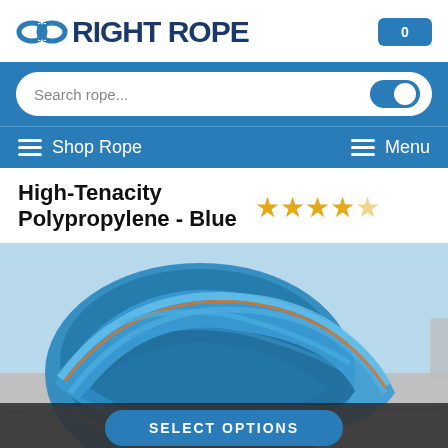[Figure (logo): Right Rope logo with stylized rope icon and text 'RIGHT ROPE' in dark blue, plus cart button with '0']
[Figure (screenshot): Blue navigation bar with white rounded search box placeholder 'Search rope...' and toggle, plus Shop Rope and Menu hamburger links]
High-Tenacity Polypropylene - Blue
[Figure (photo): Close-up photo of coiled blue polypropylene rope with orange strands on a grey surface]
SELECT OPTIONS